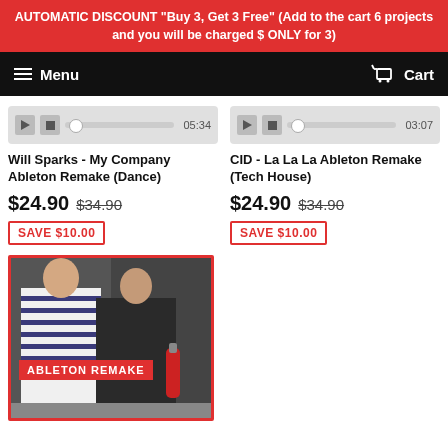AUTOMATIC DISCOUNT "Buy 3, Get 3 Free" (Add to the cart 6 projects and you will be charged $ ONLY for 3)
Menu | Cart
Will Sparks - My Company Ableton Remake (Dance)
$24.90 $34.90
SAVE $10.00
CID - La La La Ableton Remake (Tech House)
$24.90 $34.90
SAVE $10.00
[Figure (photo): Product thumbnail image showing two people, with red 'ABLETON REMAKE' label overlay]